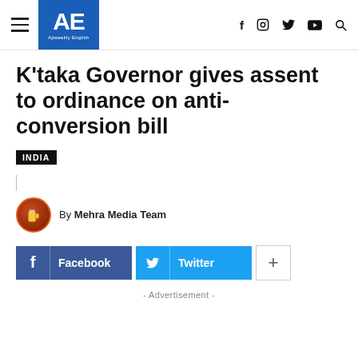AE Ajiweekly English — navigation bar with hamburger menu, logo, and social icons (f, instagram, twitter, youtube, search)
K'taka Governor gives assent to ordinance on anti-conversion bill
INDIA
By Mehra Media Team
Facebook  Twitter  +
- Advertisement -